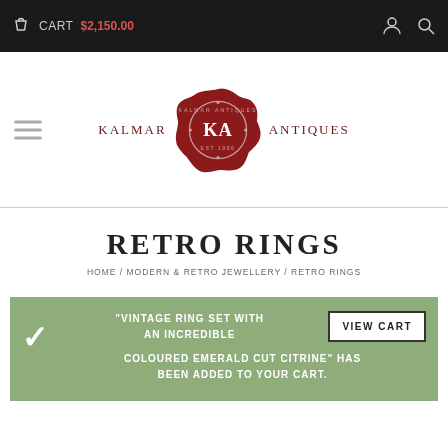CART $2,150.00
[Figure (logo): Kalmar Antiques wax seal logo with KA monogram, EST 1986]
RETRO RINGS
HOME / MODERN & RETRO JEWELLERY / RETRO RINGS
"VINTAGE RING SET WITH AN INCREDIBLE COLOURED EMERALD CUT CITRINE" HAS BEEN ADDED TO YOUR CART.
VIEW CART